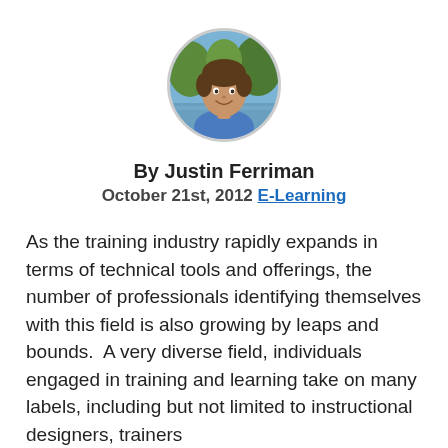[Figure (photo): Circular profile photo of Justin Ferriman, a man smiling outdoors near water with trees in the background.]
By Justin Ferriman
October 21st, 2012 E-Learning
As the training industry rapidly expands in terms of technical tools and offerings, the number of professionals identifying themselves with this field is also growing by leaps and bounds.  A very diverse field, individuals engaged in training and learning take on many labels, including but not limited to instructional designers, trainers